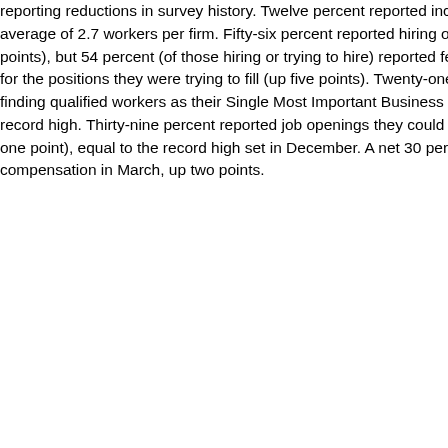reporting reductions in survey history. Twelve percent reported increasing employment an average of 2.7 workers per firm. Fifty-six percent reported hiring or trying to hire (up three points), but 54 percent (of those hiring or trying to hire) reported few or no qualified applicants for the positions they were trying to fill (up five points). Twenty-one percent cited the difficulty of finding qualified workers as their Single Most Important Business Problem, two points below the record high. Thirty-nine percent reported job openings they could not fill in the current period (up one point), equal to the record high set in December. A net 30 percent plan to raise compensation in March, up two points.
Three percent of owners reported that all their borrowing needs were not met, unchanged and historically very low. Thirty-three percent reported all loans met (down one point) and 51 percent said they were not interested in a loan, unchanged. Six percent reported their last loan was harder to get than their previous one, unchanged and historically low.
LABOR MARKETS
Job creation was solid in March with a net addition of 0.39 workers per firm (including those making no change in employment), up from 0.16 in February, 0.52, and up from 0.33 in January. One percent reported reducing employment an average of 2.4 workers per firm and 18 percent (seasonally adjusted) raised the percentage of owners reporting reductions in salary workers. Fourteen percent (unchanged) reported increasing employment and one percent reported reducing. One percent indicated that they added to the number of employees.